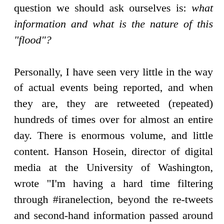question we should ask ourselves is: what information and what is the nature of this "flood"?

Personally, I have seen very little in the way of actual events being reported, and when they are, they are retweeted (repeated) hundreds of times over for almost an entire day. There is enormous volume, and little content. Hanson Hosein, director of digital media at the University of Washington, wrote "I'm having a hard time filtering through #iranelection, beyond the re-tweets and second-hand information passed around by Twitterers outside the country....We can't take [tweets] at face value. It can be quite